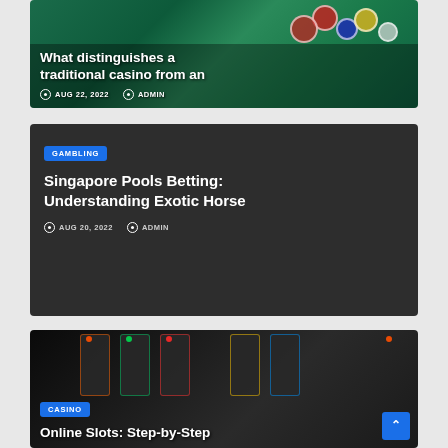[Figure (photo): Casino chips and slot machine background with article card overlay showing title 'What distinguishes a traditional casino from an', date AUG 22 2022, author ADMIN]
[Figure (screenshot): Dark card with GAMBLING tag, title 'Singapore Pools Betting: Understanding Exotic Horse', date AUG 20 2022, author ADMIN]
[Figure (photo): Slot machines background with CASINO tag and title 'Online Slots: Step-by-Step' overlaid, scroll-to-top button visible]